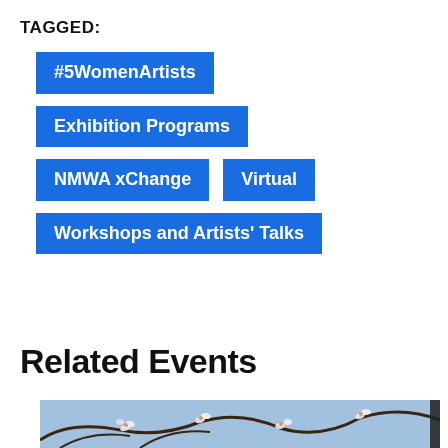TAGGED:
#5WomenArtists
Exhibition Programs
NMWA xChange
Virtual
Workshops and Artists' Talks
Related Events
[Figure (photo): Partial view of a floral painting featuring magnolia blossoms on branches against a blue background.]